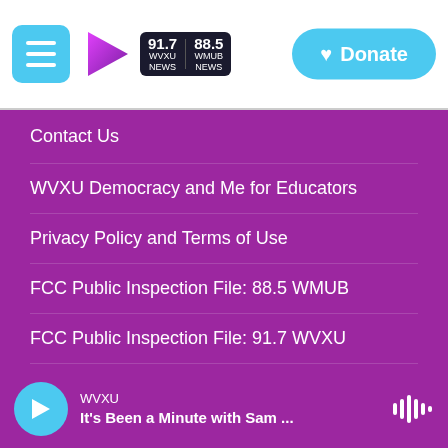[Figure (logo): WVXU/WMUB radio station header with hamburger menu, logo with play button graphic, 91.7 WVXU NEWS and 88.5 WMUB NEWS frequency labels, and a cyan Donate button]
Contact Us
WVXU Democracy and Me for Educators
Privacy Policy and Terms of Use
FCC Public Inspection File: 88.5 WMUB
FCC Public Inspection File: 91.7 WVXU
FCC Applications
[Figure (screenshot): Audio player bar at the bottom showing WVXU playing 'It's Been a Minute with Sam ...' with a cyan play button and waveform icon]